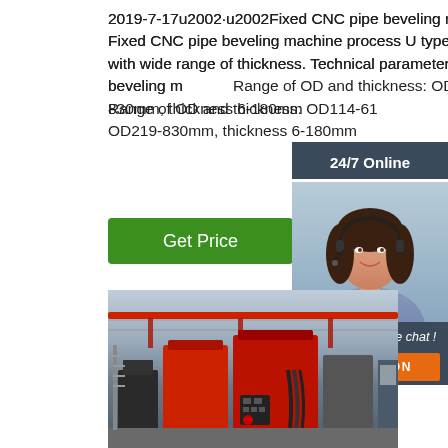2019-7-17u2002·u2002Fixed CNC pipe beveling machine Application of Fixed CNC pipe beveling machine process U type, V type, double-V type with wide range of thickness. Technical parameterof Fixed CNC pipe beveling machine Range of OD and thickness: OD114-610, OD219-830mm, thickness 6-180mm
Get Price
24/7 Online
[Figure (photo): Customer service agent (woman with headset) in a dark blue-gray sidebar panel showing 24/7 Online support]
Click here for free chat !
QUOTATION
[Figure (photo): Factory floor showing large red CNC pipe beveling machines inside an industrial building with red overhead crane]